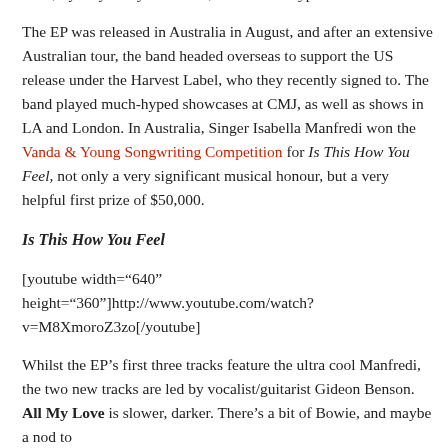Hills, Sydney. They ooze cool, without the hype.
The EP was released in Australia in August, and after an extensive Australian tour, the band headed overseas to support the US release under the Harvest Label, who they recently signed to. The band played much-hyped showcases at CMJ, as well as shows in LA and London. In Australia, Singer Isabella Manfredi won the Vanda & Young Songwriting Competition for Is This How You Feel, not only a very significant musical honour, but a very helpful first prize of $50,000.
Is This How You Feel
[youtube width="640" height="360"]http://www.youtube.com/watch?v=M8XmoroZ3zo[/youtube]
Whilst the EP's first three tracks feature the ultra cool Manfredi, the two new tracks are led by vocalist/guitarist Gideon Benson. All My Love is slower, darker. There's a bit of Bowie, and maybe a nod to